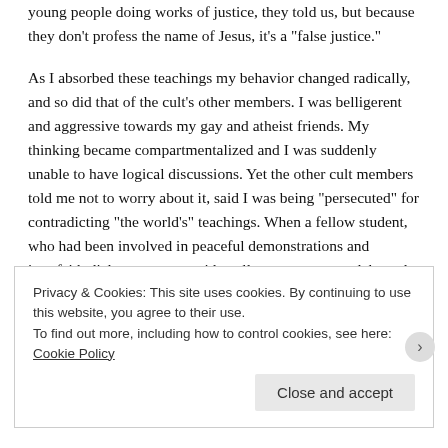young people doing works of justice, they told us, but because they don't profess the name of Jesus, it's a "false justice."
As I absorbed these teachings my behavior changed radically, and so did that of the cult's other members. I was belligerent and aggressive towards my gay and atheist friends. My thinking became compartmentalized and I was suddenly unable to have logical discussions. Yet the other cult members told me not to worry about it, said I was being "persecuted" for contradicting "the world's" teachings. When a fellow student, who had been involved in peaceful demonstrations and interfaith dialogues, was accidentally run over, we celebrated his death as a sign of God's wrath being
Privacy & Cookies: This site uses cookies. By continuing to use this website, you agree to their use.
To find out more, including how to control cookies, see here: Cookie Policy